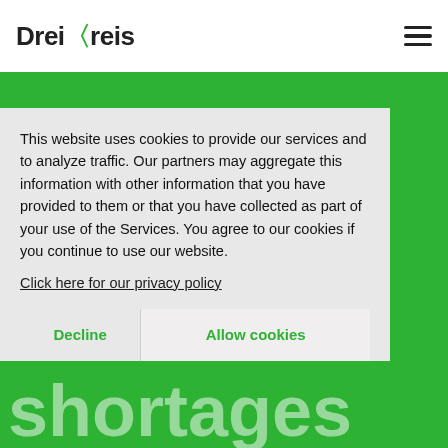DreiKreis
This website uses cookies to provide our services and to analyze traffic. Our partners may aggregate this information with other information that you have provided to them or that you have collected as part of your use of the Services. You agree to our cookies if you continue to use our website.
Click here for our privacy policy
Decline
Allow cookies